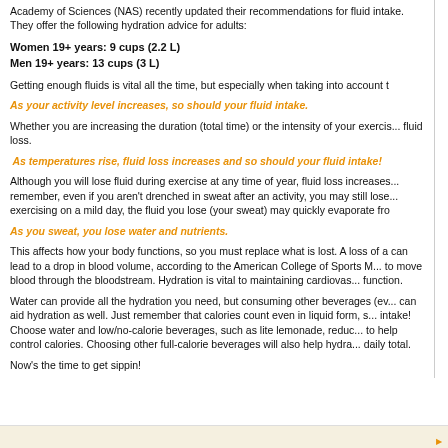Academy of Sciences (NAS) recently updated their recommendations for fluid intake. They offer the following hydration advice for adults:
Women 19+ years: 9 cups (2.2 L)
Men 19+ years: 13 cups (3 L)
Getting enough fluids is vital all the time, but especially when taking into account t
As your activity level increases, so should your fluid intake.
Whether you are increasing the duration (total time) or the intensity of your exercis... fluid loss.
As temperatures rise, fluid loss increases and so should your fluid intake!
Although you will lose fluid during exercise at any time of year, fluid loss increases... remember, even if you aren't drenched in sweat after an activity, you may still lose... exercising on a mild day, the fluid you lose (your sweat) may quickly evaporate fro
As you sweat, you lose water and nutrients.
This affects how your body functions, so you must replace what is lost. A loss of a... can lead to a drop in blood volume, according to the American College of Sports M... to move blood through the bloodstream. Hydration is vital to maintaining cardiovas... function.
Water can provide all the hydration you need, but consuming other beverages (ev... can aid hydration as well. Just remember that calories count even in liquid form, s... intake! Choose water and low/no-calorie beverages, such as lite lemonade, reduc... to help control calories. Choosing other full-calorie beverages will also help hydra... daily total.
Now's the time to get sippin!